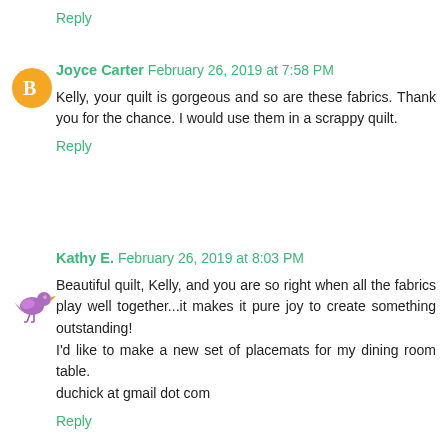Reply
Joyce Carter  February 26, 2019 at 7:58 PM
Kelly, your quilt is gorgeous and so are these fabrics. Thank you for the chance. I would use them in a scrappy quilt.
Reply
Kathy E.  February 26, 2019 at 8:03 PM
Beautiful quilt, Kelly, and you are so right when all the fabrics play well together...it makes it pure joy to create something outstanding!
I'd like to make a new set of placemats for my dining room table.
duchick at gmail dot com
Reply